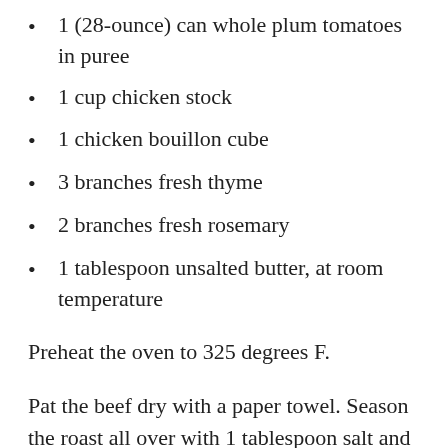1 (28-ounce) can whole plum tomatoes in puree
1 cup chicken stock
1 chicken bouillon cube
3 branches fresh thyme
2 branches fresh rosemary
1 tablespoon unsalted butter, at room temperature
Preheat the oven to 325 degrees F.
Pat the beef dry with a paper towel. Season the roast all over with 1 tablespoon salt and 1 1/2